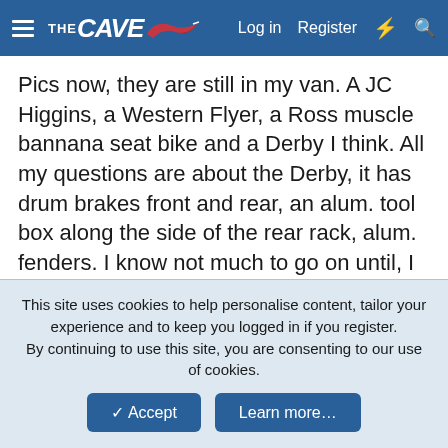THE CAVE - Log in  Register
Pics now, they are still in my van. A JC Higgins, a Western Flyer, a Ross muscle bannana seat bike and a Derby I think. All my questions are about the Derby, it has drum brakes front and rear, an alum. tool box along the side of the rear rack, alum. fenders. I know not much to go on until, I thought someone might recognize it from the description. Is it foreign or USA. It has a really cool chain guard on it. I can't figure out how to put air in the tires.
This site uses cookies to help personalise content, tailor your experience and to keep you logged in if you register. By continuing to use this site, you are consenting to our use of cookies.